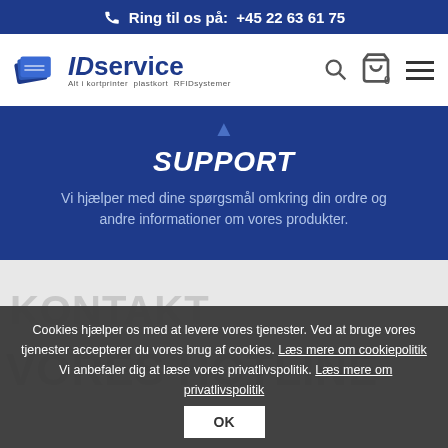Ring til os på:  +45 22 63 61 75
[Figure (logo): IDservice logo with card printer icon and tagline: Alt i kortprinter plastkort RFIDsystemer]
SUPPORT
Vi hjælper med dine spørgsmål omkring din ordre og andre informationer om vores produkter.
Cookies hjælper os med at levere vores tjenester. Ved at bruge vores tjenester accepterer du vores brug af cookies. Læs mere om cookiepolitik Vi anbefaler dig at læse vores privatlivspolitik. Læs mere om privatlivspolitik
KONTAKT
VORES HOTLINE